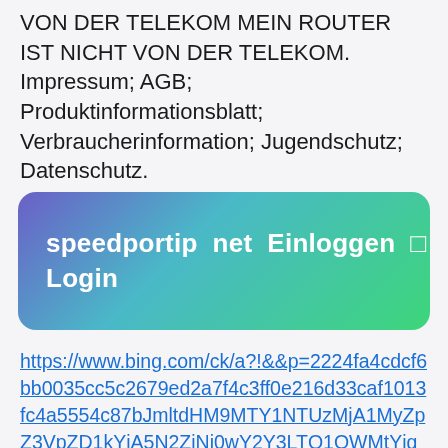VON DER TELEKOM MEIN ROUTER IST NICHT VON DER TELEKOM. Impressum; AGB; Produktinformationsblatt; Verbraucherinformation; Jugendschutz; Datenschutz.
[Figure (other): Green-to-purple gradient rounded banner button with white bold text: 'speedportip net Einloggen □ Login']
https://www.bing.com/ck/a?!&&p=2224fa4cdcf6bb0035cc5c2679ed2a7f4c3ff0e216d33caf1013fc4a5554c87bJmltdHM9MTY1NTUzMjA1MyZpZ3VpZD1kYjA5N2ZiNi0wY2Y3LTQ1OWMtYjgwMS0wMzQ3MDE5ZjQxZGUmaW5zaWQ9NTM3Nw&ptn=3&fclid=030b69ed-eecc-11ec-814f-